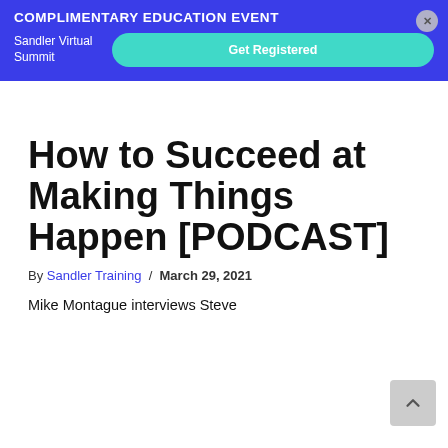COMPLIMENTARY EDUCATION EVENT
Sandler Virtual Summit
Get Registered
How to Succeed at Making Things Happen [PODCAST]
By Sandler Training / March 29, 2021
Mike Montague interviews Steve